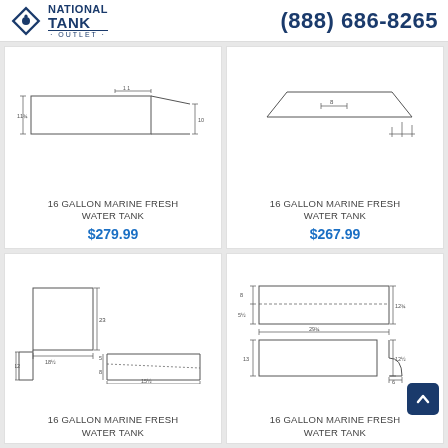NATIONAL TANK OUTLET | (888) 686-8265
[Figure (engineering-diagram): 16 gallon marine fresh water tank technical drawing, side profile view showing flat rectangular shape with dimensions 11-3/4 height and 10 height, with angled profile]
16 GALLON MARINE FRESH WATER TANK
$279.99
[Figure (engineering-diagram): 16 gallon marine fresh water tank technical drawing, side profile view showing trapezoidal cross-section with dimension 8 width marked]
16 GALLON MARINE FRESH WATER TANK
$267.99
[Figure (engineering-diagram): 16 gallon marine fresh water tank technical drawing, front and side views showing rectangular tank with dimensions: 23 height, 18-1/2 width, 12 depth, 5 and 8 side dimensions, 15-1/2 bottom dimension]
16 GALLON MARINE FRESH WATER TANK
[Figure (engineering-diagram): 16 gallon marine fresh water tank technical drawing, multi-view showing top rectangle with dimensions 8, 5-1/2, 12-3/4, 29-3/4 width; bottom view 13 height, 12-1/2, 6 with curved corner]